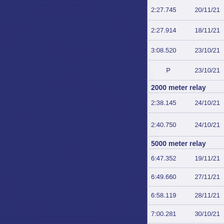| Time | Date |
| --- | --- |
| 2:27.745 | 20/11/21 |
| 2:27.914 | 18/11/21 |
| 3:08.520 | 23/10/21 |
| P | 23/10/21 |
2000 meter relay
| Time | Date |
| --- | --- |
| 2:38.145 | 24/10/21 |
| 2:40.750 | 24/10/21 |
5000 meter relay
| Time | Date |
| --- | --- |
| 6:47.352 | 19/11/21 |
| 6:49.660 | 27/11/21 |
| 6:58.119 | 28/11/21 |
| 7:00.281 | 30/10/21 |
| 7:00.901 | 29/10/21 |